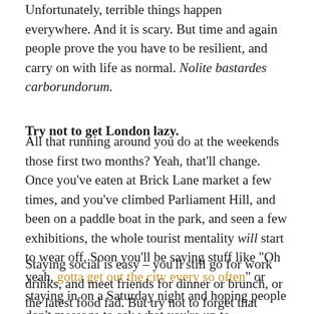Unfortunately, terrible things happen everywhere. And it is scary. But time and again people prove the you have to be resilient, and carry on with life as normal. Nolite bastardes carborundorum.
Try not to get London lazy.
All that running around you do at the weekends those first two months? Yeah, that'll change. Once you've eaten at Brick Lane market a few times, and you've climbed Parliament Hill, and been on a paddle boat in the park, and seen a few exhibitions, the whole tourist mentality will start to wear off. Soon you'll be saying stuff like "Oh yeah, gotta get out the city every so often" or staying in on a Saturday night and hoping people don't message to ask what you're up to.
Staying social is easy – you'll still go for work drinks, and meet friends for dinner or brunch, or the latest food fad. But try not to forget that you've got the best of the best on your doorstep, and an opportunity to try everything from swing dance to cereal cafes. I sometimes get a pang